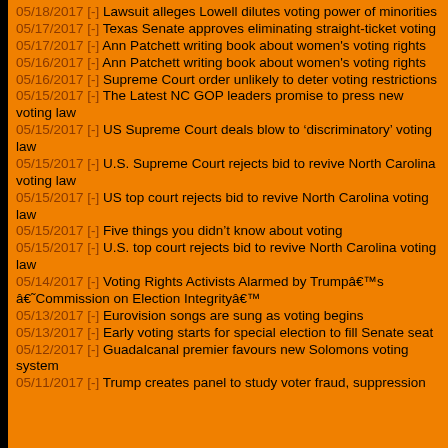05/18/2017 [-] Lawsuit alleges Lowell dilutes voting power of minorities
05/17/2017 [-] Texas Senate approves eliminating straight-ticket voting
05/17/2017 [-] Ann Patchett writing book about women's voting rights
05/16/2017 [-] Ann Patchett writing book about women's voting rights
05/16/2017 [-] Supreme Court order unlikely to deter voting restrictions
05/15/2017 [-] The Latest NC GOP leaders promise to press new voting law
05/15/2017 [-] US Supreme Court deals blow to 'discriminatory' voting law
05/15/2017 [-] U.S. Supreme Court rejects bid to revive North Carolina voting law
05/15/2017 [-] US top court rejects bid to revive North Carolina voting law
05/15/2017 [-] Five things you didn't know about voting
05/15/2017 [-] U.S. top court rejects bid to revive North Carolina voting law
05/14/2017 [-] Voting Rights Activists Alarmed by Trump’s ‘Commission on Election Integrity’
05/13/2017 [-] Eurovision songs are sung as voting begins
05/13/2017 [-] Early voting starts for special election to fill Senate seat
05/12/2017 [-] Guadalcanal premier favours new Solomons voting system
05/11/2017 [-] Trump creates panel to study voter fraud, suppression